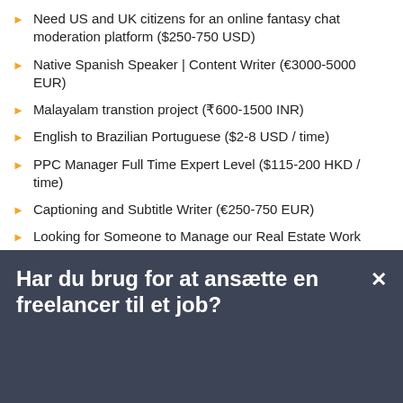Need US and UK citizens for an online fantasy chat moderation platform ($250-750 USD)
Native Spanish Speaker | Content Writer (€3000-5000 EUR)
Malayalam transtion project (₹600-1500 INR)
English to Brazilian Portuguese ($2-8 USD / time)
PPC Manager Full Time Expert Level ($115-200 HKD / time)
Captioning and Subtitle Writer (€250-750 EUR)
Looking for Someone to Manage our Real Estate Work Order Team - Being bi-lingual speaking both English & Spanish is a Huge Plus ($2-8 USD / time)
Har du brug for at ansætte en freelancer til et job?
Opret et projekt